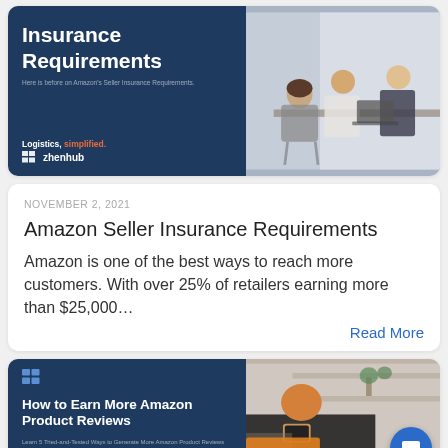[Figure (illustration): Top card with dark blue left panel showing 'Insurance Requirements' title and zhenhub branding, and right photo panel showing business people in a meeting around a table with a laptop]
NOVEMBER 2, 2021
Amazon Seller Insurance Requirements
Amazon is one of the best ways to reach more customers. With over 25% of retailers earning more than $25,000…
Read More
[Figure (illustration): Bottom card with dark blue left panel showing zhenhub icon and 'How to Earn More Amazon Product Reviews' title with subtitle 'Learn 5 Tried-and-Tested Ways to Generate More Amazon Product Reviews', right photo panel showing person with phone and calculator, and a blue chat bubble icon]